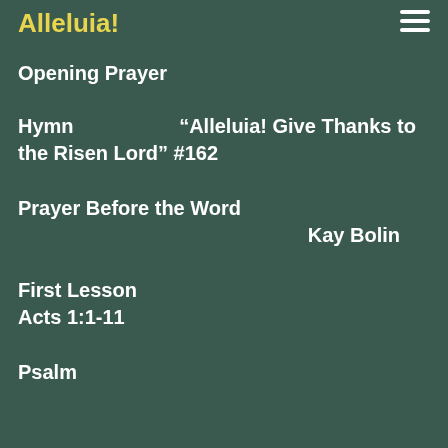Alleluia!
Opening Prayer
Hymn   “Alleluia! Give Thanks to the Risen Lord” #162
Prayer Before the Word   Kay Bolin
First Lesson Acts 1:1-11
Psalm